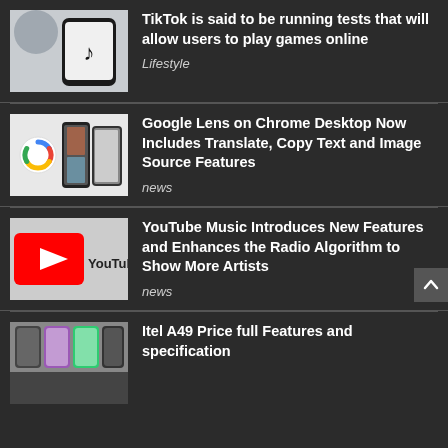[Figure (photo): TikTok app on a smartphone against a light gray background]
TikTok is said to be running tests that will allow users to play games online
Lifestyle
[Figure (photo): Google Lens interface shown on mobile phones]
Google Lens on Chrome Desktop Now Includes Translate, Copy Text and Image Source Features
news
[Figure (photo): YouTube logo on a surface]
YouTube Music Introduces New Features and Enhances the Radio Algorithm to Show More Artists
news
[Figure (photo): Itel A49 smartphones in multiple colors]
Itel A49 Price full Features and specification